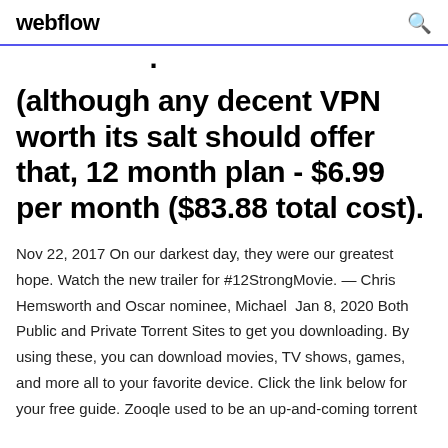webflow
(although any decent VPN worth its salt should offer that, 12 month plan - $6.99 per month ($83.88 total cost).
Nov 22, 2017 On our darkest day, they were our greatest hope. Watch the new trailer for #12StrongMovie. — Chris Hemsworth and Oscar nominee, Michael  Jan 8, 2020 Both Public and Private Torrent Sites to get you downloading. By using these, you can download movies, TV shows, games, and more all to your favorite device. Click the link below for your free guide. Zooqle used to be an up-and-coming torrent